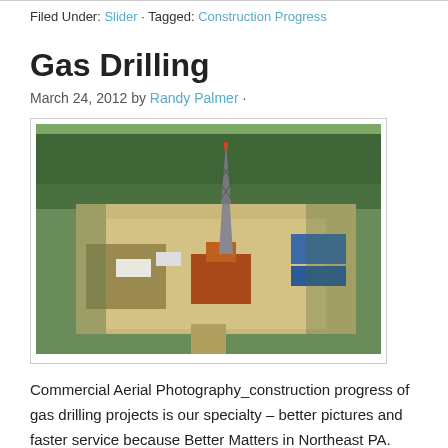Filed Under: Slider · Tagged: Construction Progress
Gas Drilling
March 24, 2012 by Randy Palmer ·
[Figure (photo): Aerial photograph of a gas drilling rig site surrounded by trees and cleared land, viewed from above.]
Commercial Aerial Photography_construction progress of gas drilling projects is our specialty – better pictures and faster service because Better Matters in Northeast PA. Commercial Pilot and Professional Photographer providing aerial vertical obliques for residential and commercial land development, real estate, oil wells, gas rigs, generating […]